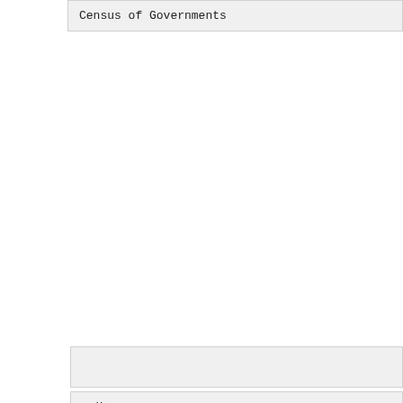Census of Governments
= H =
Line 673:
[http://www.cdc.gov/... stics.html CDC Feature... Statistics]
[http://www.cdc.gov/... health topics A to Z...